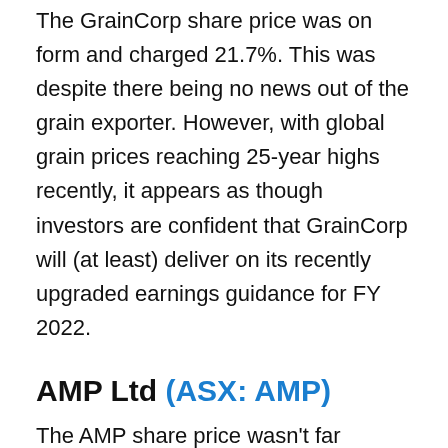The GrainCorp share price was on form and charged 21.7%. This was despite there being no news out of the grain exporter. However, with global grain prices reaching 25-year highs recently, it appears as though investors are confident that GrainCorp will (at least) deliver on its recently upgraded earnings guidance for FY 2022.
AMP Ltd (ASX: AMP)
The AMP share price wasn't far behind with a gain of 20.2% last month. This was driven by the announcement of a number of sale agreements for its private markets business. Collimate